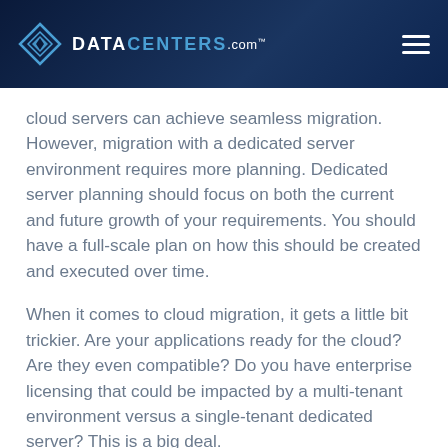DATACENTERS.com
cloud servers can achieve seamless migration. However, migration with a dedicated server environment requires more planning. Dedicated server planning should focus on both the current and future growth of your requirements. You should have a full-scale plan on how this should be created and executed over time.
When it comes to cloud migration, it gets a little bit trickier. Are your applications ready for the cloud? Are they even compatible? Do you have enterprise licensing that could be impacted by a multi-tenant environment versus a single-tenant dedicated server? This is a big deal.
In any case, it's important to focus on running